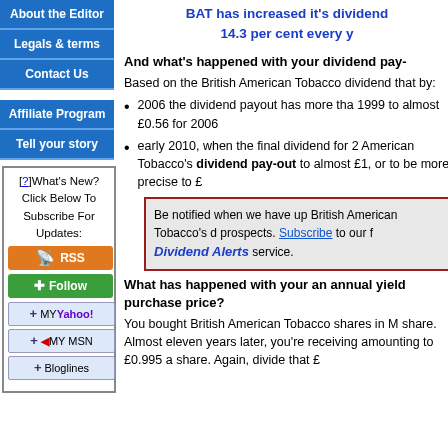About the Editor
Legals & terms
Contact Us
Affiliate Program
Tell your story
[?]What's New? Click Below To Subscribe For Updates:
BAT has increased it's dividend 14.3 per cent every y
And what's happened with your dividend pay-
Based on the British American Tobacco dividend that by:
2006 the dividend payout has more tha 1999 to almost £0.56 for 2006
early 2010, when the final dividend for 1 American Tobacco's dividend pay-out to almost £1, or to be more precise to £
Be notified when we have up British American Tobacco's d prospects. Subscribe to our f Dividend Alerts service.
What has happened with your an annual yield purchase price?
You bought British American Tobacco shares in M share. Almost eleven years later, you're receiving amounting to £0.995 a share. Again, divide that £